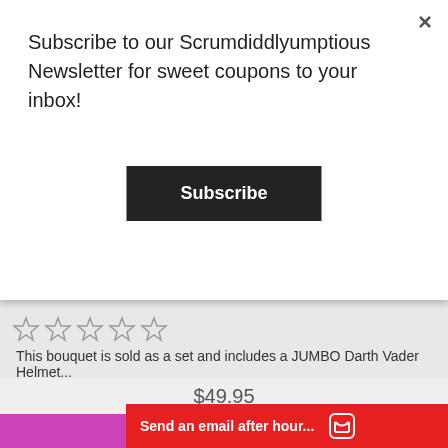Subscribe to our Scrumdiddlyumptious Newsletter for sweet coupons to your inbox!
Subscribe
×
This bouquet is sold as a set and includes a JUMBO Darth Vader Helmet...
$49.95
ADD TO CART
[Figure (illustration): White cat balloon holding a pink heart balloon, colorful illustration]
Send an email after hour...